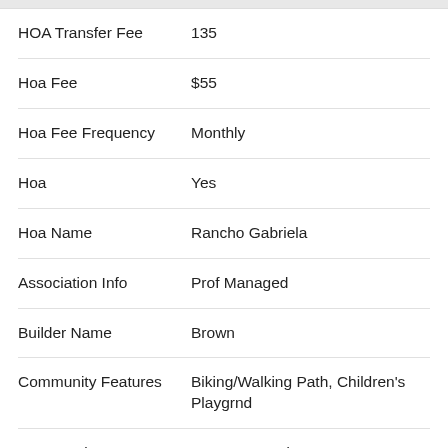| Field | Value |
| --- | --- |
| HOA Transfer Fee | 135 |
| Hoa Fee | $55 |
| Hoa Fee Frequency | Monthly |
| Hoa | Yes |
| Hoa Name | Rancho Gabriela |
| Association Info | Prof Managed |
| Builder Name | Brown |
| Community Features | Biking/Walking Path, Children's Playgrnd |
| Construction | Frame - Wood |